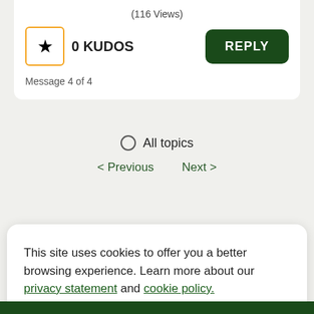(116 Views)
0 KUDOS
REPLY
Message 4 of 4
All topics
‹ Previous   Next ›
This site uses cookies to offer you a better browsing experience. Learn more about our privacy statement and cookie policy.
Yes, I accept